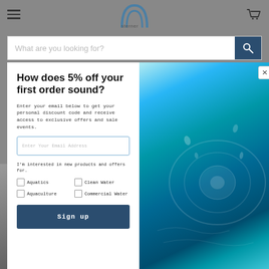[Figure (screenshot): Sterner website header with hamburger menu icon on left, Sterner arch logo in center, cart icon on right]
What are you looking for?
How does 5% off your first order sound?
Enter your email below to get your personal discount code and receive access to exclusive offers and sale events.
Enter Your Email Address
I'm interested in new products and offers for.
Aquatics
Clean Water
Aquaculture
Commercial Water
Sign up
[Figure (photo): Water splash with blue ripple effect on right panel of modal]
[Figure (photo): Dark product pen/probe labeled 'Total Algae-PE' at bottom of page]